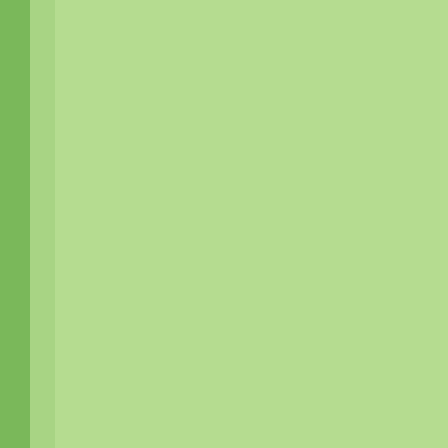it will drown out sound and we also use it w darling is napping so sh soundly. If you want to try one purchasing one, you m able to rent one at a m supply store, that wa we did at first.........we it for one month.... Can not tell you how m I felt after using it for it just got better and be day........ Then when our month hubby took it back as gonna look into havin